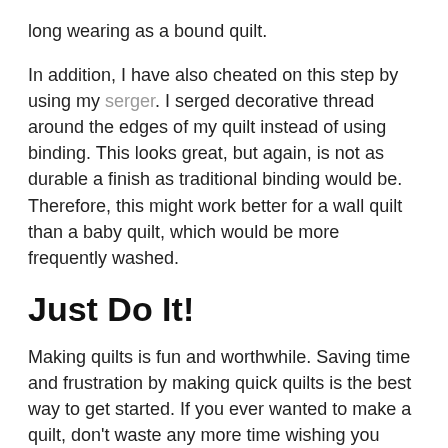long wearing as a bound quilt.
In addition, I have also cheated on this step by using my serger.  I serged decorative thread around the edges of my quilt instead of using binding.  This looks great, but again, is not as durable a finish as traditional binding would be.  Therefore, this might work better for a wall quilt than a baby quilt, which would be more frequently washed.
Just Do It!
Making quilts is fun and worthwhile.  Saving time and frustration by making quick quilts is the best way to get started.  If you ever wanted to make a quilt, don't waste any more time wishing you could and just do it!  You surely can and you will be so glad that you did.